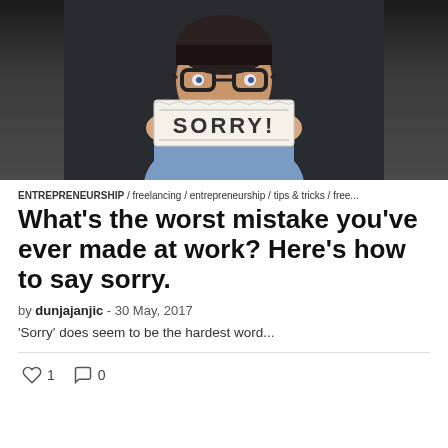[Figure (photo): A person wearing glasses holding up a paper sign that reads 'SORRY!' in front of their face, against a dark background]
ENTREPRENEURSHIP / freelancing / entrepreneurship / tips & tricks / free...
What's the worst mistake you've ever made at work? Here's how to say sorry.
by dunjajanjic - 30 May, 2017
'Sorry' does seem to be the hardest word...
1   0